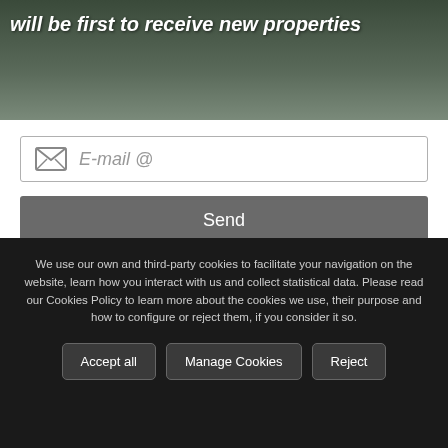will be first to receive new properties
E-mail @
Send
Accept Privacy Policy
Accept to receive advertisement
We use our own and third-party cookies to facilitate your navigation on the website, learn how you interact with us and collect statistical data. Please read our Cookies Policy to learn more about the cookies we use, their purpose and how to configure or reject them, if you consider it so.
Accept all | Manage Cookies | Reject